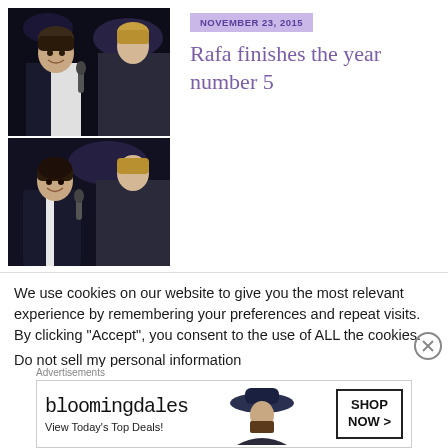[Figure (photo): Two photos stacked: a tennis player (Rafael Nadal) smiling and talking with another person, indoor sports venue background, dark clothing]
NOVEMBER 23, 2015
Rafa finishes the year number 5
We use cookies on our website to give you the most relevant experience by remembering your preferences and repeat visits. By clicking “Accept”, you consent to the use of ALL the cookies.
Do not sell my personal information
Advertisements
[Figure (other): Bloomingdale's advertisement banner: 'bloomingdales / View Today’s Top Deals!' with a woman in a hat and 'SHOP NOW >' button]